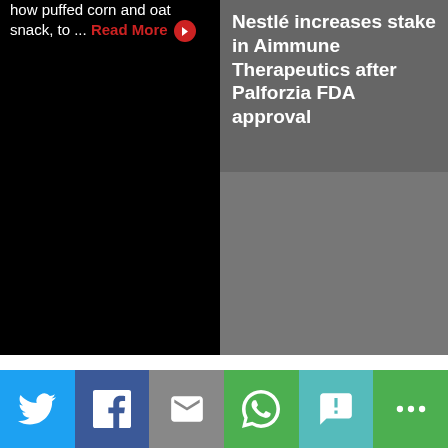how puffed corn and oat snack, to ... Read More
Nestlé increases stake in Aimmune Therapeutics after Palforzia FDA approval
[Figure (other): Social share buttons: Twitter, Facebook, Email, WhatsApp, SMS, More]